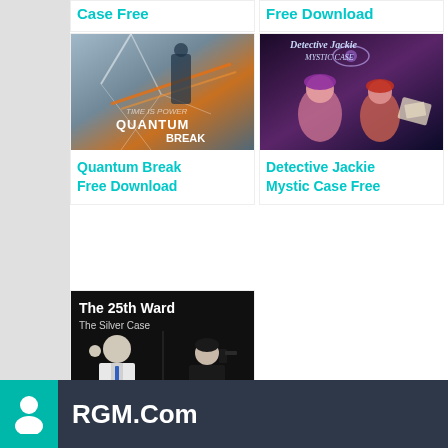Case Free
Free Download
[Figure (photo): Quantum Break game cover art showing action scene with shattered glass and orange light effects]
Quantum Break Free Download
[Figure (photo): Detective Jackie Mystic Case game cover art showing animated characters in a mystery scene]
Detective Jackie Mystic Case Free
[Figure (photo): The 25th Ward The Silver Case game cover showing black and white figures in noir style]
The 25th Ward The Silver Case
RGM.Com